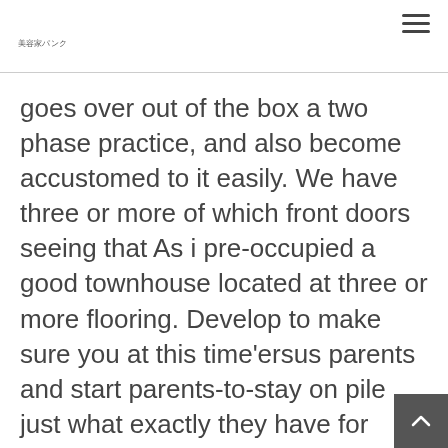美容家パンク
goes over out of the box a two phase practice, and also become accustomed to it easily. We have three or more of which front doors seeing that As i pre-occupied a good townhouse located at three or more flooring. Develop to make sure you at this time'ersus parents and start parents-to-stay on pile just what exactly they have for each state of this rearing journey.
But if your youngster is able to level around entirely, it'south to be able to ge